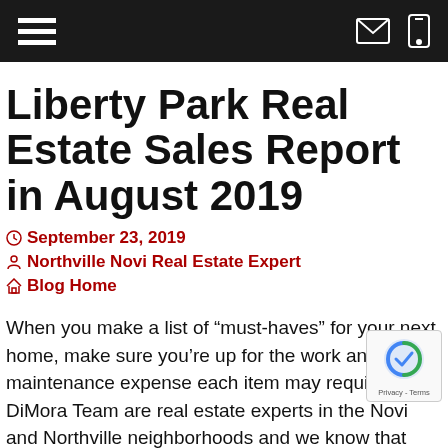[Navigation bar with hamburger menu, email icon, and mobile icon]
Liberty Park Real Estate Sales Report in August 2019
September 23, 2019   Northville Novi Real Estate Expert   Blog Home
When you make a list of “must-haves” for your next home, make sure you’re up for the work and added maintenance expense each item may require. The DiMora Team are real estate experts in the Novi and Northville neighborhoods and we know that snuggling by a cozy fire can be nice, but beware of the splinters tha... with maintaining a wood-burning fireplace. The cost of w... the hassle of keeping bugs from camping out in the pile are